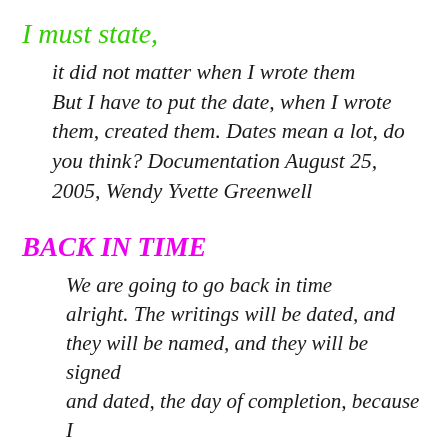I must state,
it did not matter when I wrote them But I have to put the date, when I wrote them, created them. Dates mean a lot, do you think? Documentation August 25, 2005, Wendy Yvette Greenwell
BACK IN TIME
We are going to go back in time alright. The writings will be dated, and they will be named, and they will be signed and dated, the day of completion, because I